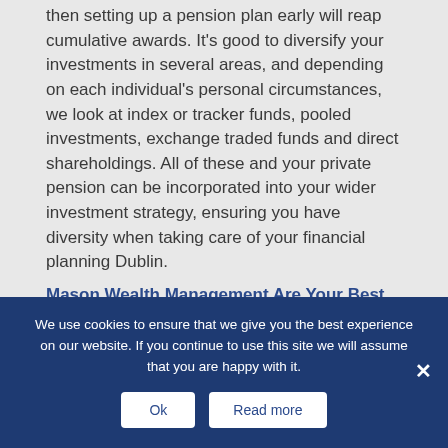If you're starting to plan for your retirement then setting up a pension plan early will reap cumulative awards. It's good to diversify your investments in several areas, and depending on each individual's personal circumstances, we look at index or tracker funds, pooled investments, exchange traded funds and direct shareholdings. All of these and your private pension can be incorporated into your wider investment strategy, ensuring you have diversity when taking care of your financial planning Dublin.
Mason Wealth Management Are Your Best Option
We use cookies to ensure that we give you the best experience on our website. If you continue to use this site we will assume that you are happy with it.